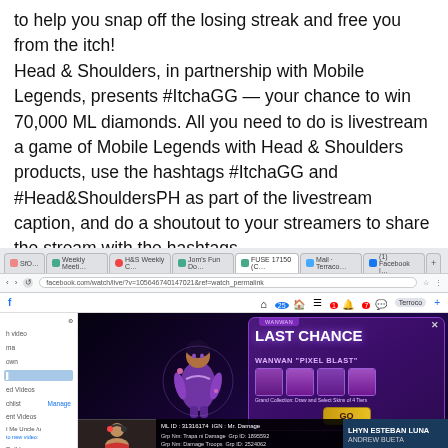to help you snap off the losing streak and free you from the itch! Head & Shoulders, in partnership with Mobile Legends, presents #ItchaGG — your chance to win 70,000 ML diamonds. All you need to do is livestream a game of Mobile Legends with Head & Shoulders products, use the hashtags #ItchaGG and #Head&ShouldersPH as part of the livestream caption, and do a shoutout to your streamers to share the stream with the hashtags.
[Figure (screenshot): Screenshot of a Facebook browser window showing a Mobile Legends livestream with a 'Last Chance Wanwan Pixel Blast' in-game popup overlay. Browser tabs visible at top, Facebook mobile navigation bar, left sidebar with video list, and game area with purple promotional modal. Bottom bar shows streamer webcam, ML ID info, and names LHYN ESTEBAN LUNA and ANDREW BUETA.]